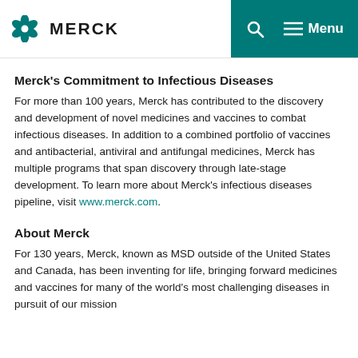MERCK
Merck's Commitment to Infectious Diseases
For more than 100 years, Merck has contributed to the discovery and development of novel medicines and vaccines to combat infectious diseases. In addition to a combined portfolio of vaccines and antibacterial, antiviral and antifungal medicines, Merck has multiple programs that span discovery through late-stage development. To learn more about Merck's infectious diseases pipeline, visit www.merck.com.
About Merck
For 130 years, Merck, known as MSD outside of the United States and Canada, has been inventing for life, bringing forward medicines and vaccines for many of the world's most challenging diseases in pursuit of our mission